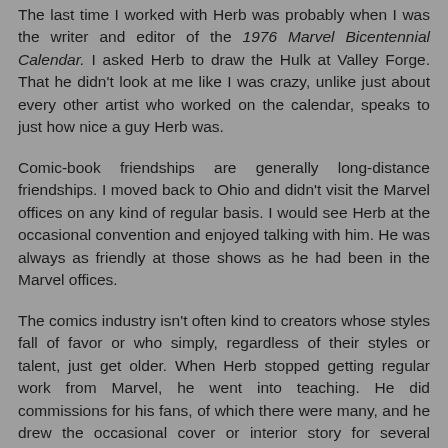The last time I worked with Herb was probably when I was the writer and editor of the 1976 Marvel Bicentennial Calendar. I asked Herb to draw the Hulk at Valley Forge. That he didn't look at me like I was crazy, unlike just about every other artist who worked on the calendar, speaks to just how nice a guy Herb was.
Comic-book friendships are generally long-distance friendships. I moved back to Ohio and didn't visit the Marvel offices on any kind of regular basis. I would see Herb at the occasional convention and enjoyed talking with him. He was always as friendly at those shows as he had been in the Marvel offices.
The comics industry isn't often kind to creators whose styles fall of favor or who simply, regardless of their styles or talent, just get older. When Herb stopped getting regular work from Marvel, he went into teaching. He did commissions for his fans, of which there were many, and he drew the occasional cover or interior story for several publishers. He was a guest at conventions and, no surprise to anyone who knew him, he was a wonderful guest.